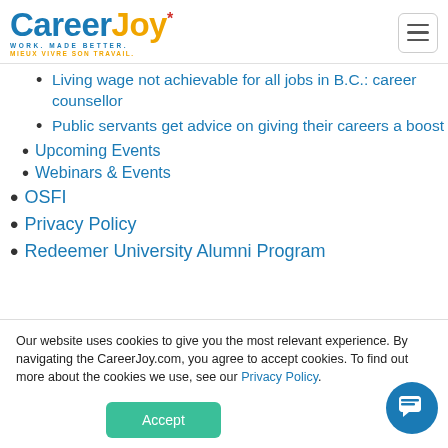CareerJoy* WORK. MADE BETTER. MIEUX VIVRE SON TRAVAIL.
Living wage not achievable for all jobs in B.C.: career counsellor
Public servants get advice on giving their careers a boost
Upcoming Events
Webinars & Events
OSFI
Privacy Policy
Redeemer University Alumni Program
Our website uses cookies to give you the most relevant experience. By navigating the CareerJoy.com, you agree to accept cookies. To find out more about the cookies we use, see our Privacy Policy.
Accept